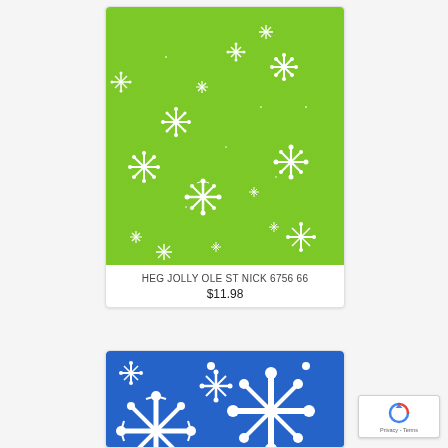[Figure (illustration): Green fabric with white snowflake pattern (HEG JOLLY OLE ST NICK product image)]
HEG JOLLY OLE ST NICK 6756 66
$11.98
[Figure (illustration): Blue fabric with large white snowflake pattern (second product image, partially visible)]